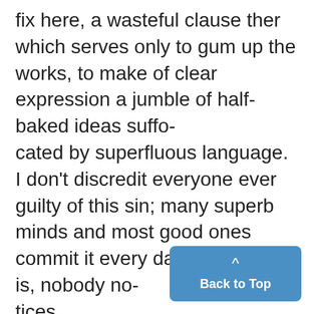fix here, a wasteful clause ther which serves only to gum up the works, to make of clear expression a jumble of half-baked ideas suffo-
cated by superfluous language.
I don't discredit everyone ever guilty of this sin; many superb minds and most good ones
commit it every day. The point is, nobody no-
tices.
In a very real sense, one of the favorites these days is the phrase "In a v sense,"